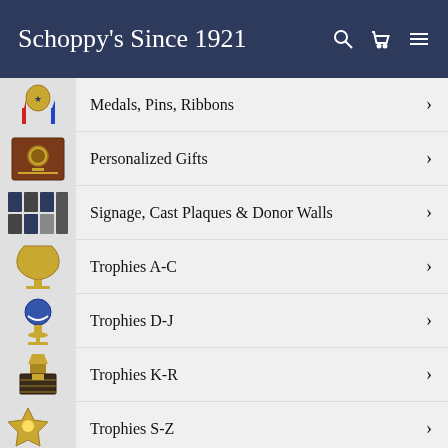Schoppy's Since 1921
Medals, Pins, Ribbons
Personalized Gifts
Signage, Cast Plaques & Donor Walls
Trophies A-C
Trophies D-J
Trophies K-R
Trophies S-Z
Pageants